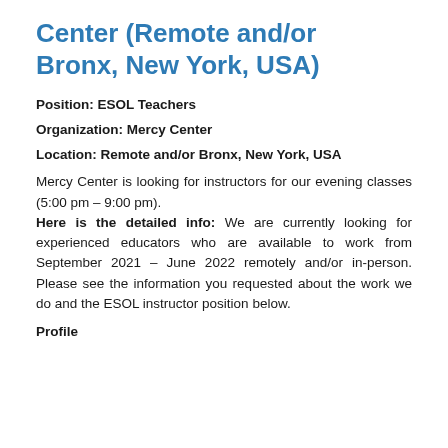Center (Remote and/or Bronx, New York, USA)
Position: ESOL Teachers
Organization: Mercy Center
Location: Remote and/or Bronx, New York, USA
Mercy Center is looking for instructors for our evening classes (5:00 pm – 9:00 pm). Here is the detailed info: We are currently looking for experienced educators who are available to work from September 2021 – June 2022 remotely and/or in-person. Please see the information you requested about the work we do and the ESOL instructor position below.
Profile